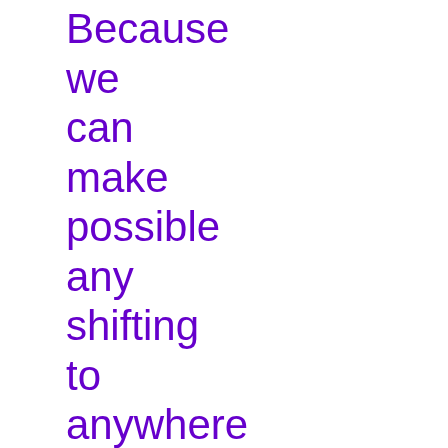Because we can make possible any shifting to anywhere with hassle-free, easy and safe.
Asian Movers